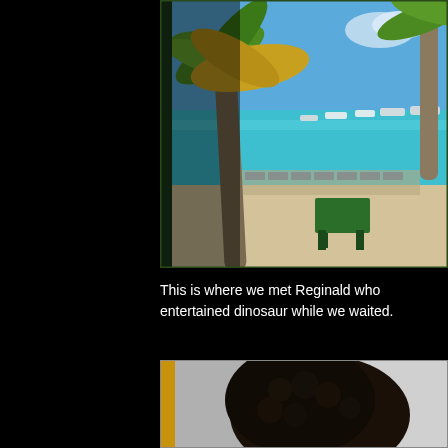[Figure (photo): Tropical beach scene with palm trees, white sand, lounge chairs, a green table, and turquoise water with boats in the background]
This is where we met Reginald who entertained dinosaur while we waited.
[Figure (photo): Close-up of a person with curly dark hair, partial face view]